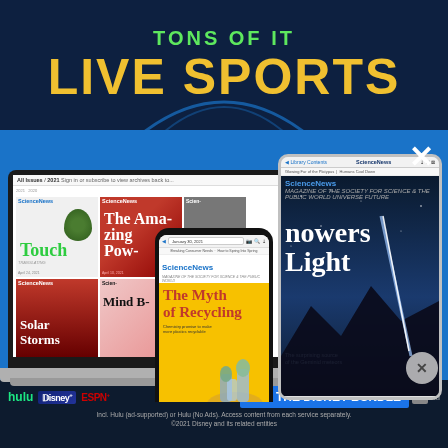[Figure (screenshot): Top banner with dark navy background showing 'TONS OF IT' in green and 'LIVE SPORTS' in large yellow bold text, with a circular arc graphic at the bottom]
[Figure (screenshot): Advertisement for ScienceNews digital subscription showing a laptop, tablet, and phone displaying various ScienceNews magazine covers including 'Touch', 'The Myth of Recycling', and 'Showers of Light'. Blue background with white X close button.]
[Figure (screenshot): Bottom Disney Bundle advertisement banner showing Hulu, Disney+, ESPN+ logos with 'GET THE DISNEY BUNDLE' button and fine print about Hulu (ad-supported) or Hulu (No Ads), access content from each service separately. ©2021 Disney and its related entities]